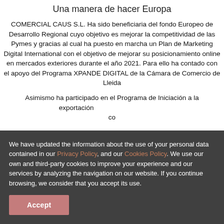Una manera de hacer Europa
COMERCIAL CAUS S.L. Ha sido beneficiaria del fondo Europeo de Desarrollo Regional cuyo objetivo es mejorar la competitividad de las Pymes y gracias al cual ha puesto en marcha un Plan de Marketing Digital International con el objetivo de mejorar su posicionamiento online en mercados exteriores durante el año 2021. Para ello ha contado con el apoyo del Programa XPANDE DIGITAL de la Cámara de Comercio de Lleida
Asimismo ha participado en el Programa de Iniciación a la exportación...
We have updated the information about the use of your personal data contained in our Privacy Policy, and our Cookies Policy. We use our own and third-party cookies to improve your experience and our services by analyzing the navigation on our website. If you continue browsing, we consider that you accept its use.
Accept